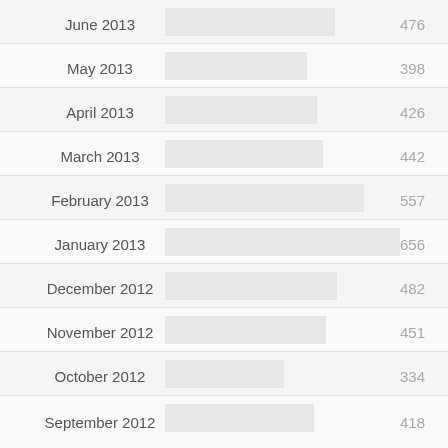[Figure (bar-chart): Monthly counts]